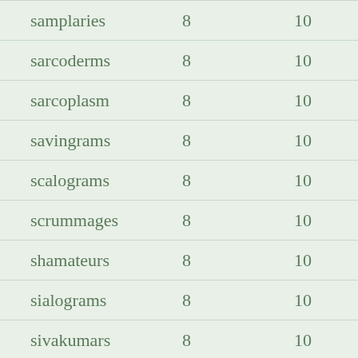| samplaries | 8 | 10 |
| sarcoderms | 8 | 10 |
| sarcoplasm | 8 | 10 |
| savingrams | 8 | 10 |
| scalograms | 8 | 10 |
| scrummages | 8 | 10 |
| shamateurs | 8 | 10 |
| sialograms | 8 | 10 |
| sivakumars | 8 | 10 |